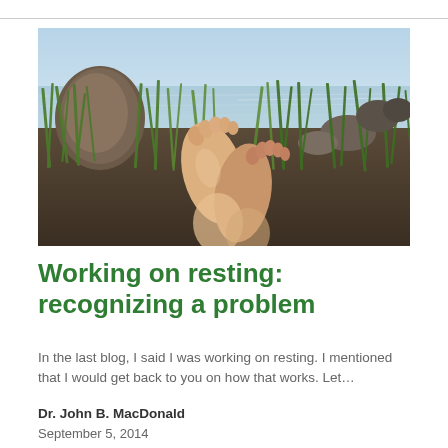[Figure (photo): Outdoor beach scene with someone lying in grass near water, bare feet raised up in the foreground, with driftwood and calm water visible in the background]
Working on resting: recognizing a problem
In the last blog, I said I was working on resting. I mentioned that I would get back to you on how that works. Let…
Dr. John B. MacDonald
September 5, 2014